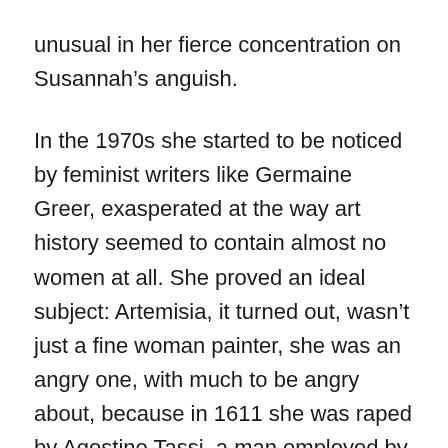unusual in her fierce concentration on Susannah's anguish.
In the 1970s she started to be noticed by feminist writers like Germaine Greer, exasperated at the way art history seemed to contain almost no women at all. She proved an ideal subject: Artemisia, it turned out, wasn't just a fine woman painter, she was an angry one, with much to be angry about, because in 1611 she was raped by Agostino Tassi, a man employed by Orazio to teach her.
When the matter came to court (the charge